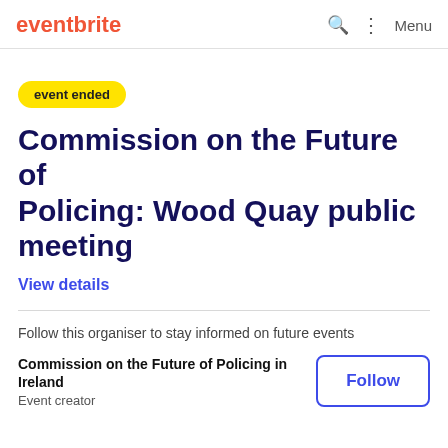eventbrite  Menu
event ended
Commission on the Future of Policing: Wood Quay public meeting
View details
Follow this organiser to stay informed on future events
Commission on the Future of Policing in Ireland
Event creator
Follow